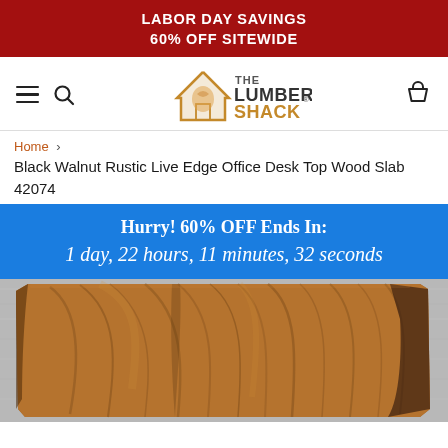LABOR DAY SAVINGS
60% OFF SITEWIDE
[Figure (logo): The Lumber Shack logo with house icon and hamburger/search nav icons and cart icon]
Home › Black Walnut Rustic Live Edge Office Desk Top Wood Slab 42074
Hurry! 60% OFF Ends In:
1 day, 22 hours, 11 minutes, 32 seconds
[Figure (photo): Black walnut rustic live edge wood slab displayed on a metallic/grey background, showing natural wood grain and dark bark edges]